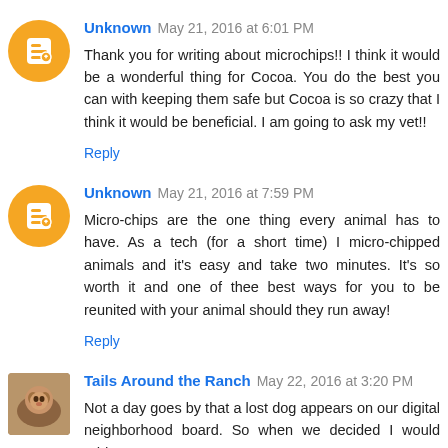Unknown May 21, 2016 at 6:01 PM
Thank you for writing about microchips!! I think it would be a wonderful thing for Cocoa. You do the best you can with keeping them safe but Cocoa is so crazy that I think it would be beneficial. I am going to ask my vet!!
Reply
Unknown May 21, 2016 at 7:59 PM
Micro-chips are the one thing every animal has to have. As a tech (for a short time) I micro-chipped animals and it's easy and take two minutes. It's so worth it and one of thee best ways for you to be reunited with your animal should they run away!
Reply
Tails Around the Ranch May 22, 2016 at 3:20 PM
Not a day goes by that a lost dog appears on our digital neighborhood board. So when we decided I would add...